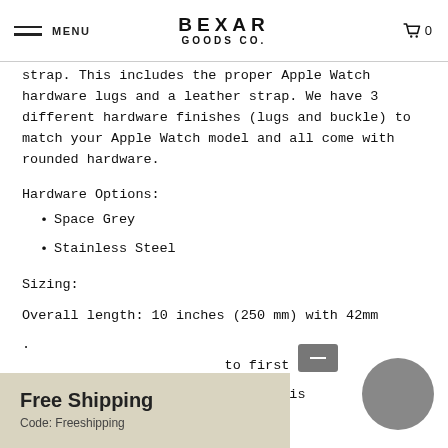MENU | BEXAR GOODS CO. | 0
strap. This includes the proper Apple Watch hardware lugs and a leather strap. We have 3 different hardware finishes (lugs and buckle) to match your Apple Watch model and all come with rounded hardware.
Hardware Options:
Space Grey
Stainless Steel
Sizing:
Overall length: 10 inches (250 mm) with 42mm
to first hole
o last hole is
Free Shipping
Code: Freeshipping